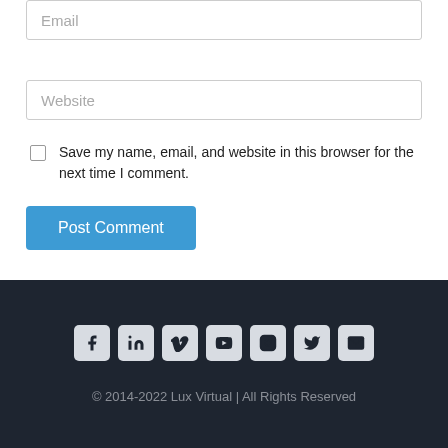Email
Website
Save my name, email, and website in this browser for the next time I comment.
Post Comment
[Figure (other): Social media icons row: Facebook, LinkedIn, Vimeo, YouTube, Instagram, Twitter, Email]
© 2014-2022 Lux Virtual | All Rights Reserved